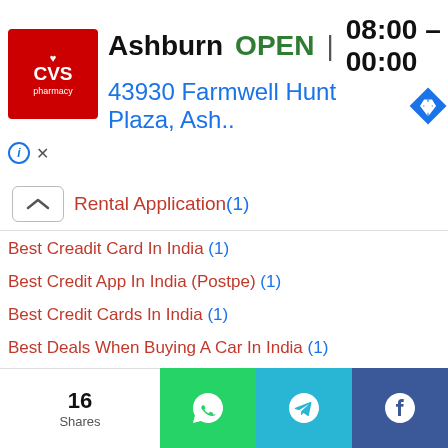[Figure (screenshot): CVS Pharmacy advertisement banner showing Ashburn location, OPEN status, hours 08:00-00:00, and address 43930 Farmwell Hunt Plaza, Ash..]
Rental Application (1)
Best Creadit Card In India (1)
Best Credit App In India (Postpe) (1)
Best Credit Cards In India (1)
Best Deals When Buying A Car In India (1)
Best GPS Tracking Apps (1)
Best Health Insurance Companies (1)
Best Horoscope App (1)
Best Jobs In Australia (1)
Best Online Lawyer Service In India (1)
Best Photos And Data Recovery Apps (1)
Best Places To Visit in Diwali Vacation (1)
16 Shares